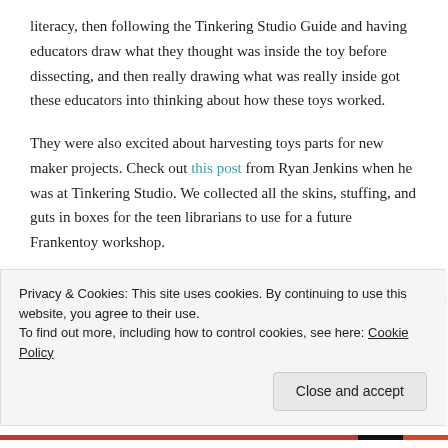literacy, then following the Tinkering Studio Guide and having educators draw what they thought was inside the toy before dissecting, and then really drawing what was really inside got these educators into thinking about how these toys worked.
They were also excited about harvesting toys parts for new maker projects. Check out this post from Ryan Jenkins when he was at Tinkering Studio. We collected all the skins, stuffing, and guts in boxes for the teen librarians to use for a future Frankentoy workshop.
Hacking toys is not only a great way to learn how things...
Privacy & Cookies: This site uses cookies. By continuing to use this website, you agree to their use.
To find out more, including how to control cookies, see here: Cookie Policy
Close and accept